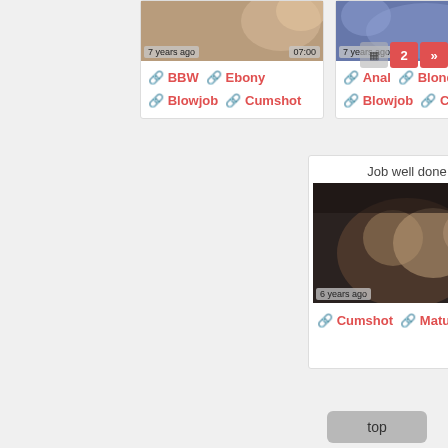[Figure (screenshot): Video thumbnail card 1 showing '7 years ago' and '07:00' overlay, with tags BBW, Ebony, Blowjob, Cumshot]
[Figure (screenshot): Video thumbnail card 2 showing '7 years ago' and '04:53' overlay, with tags Anal, Blonde, Blowjob, Cumshot]
[Figure (screenshot): Pagination controls showing page 2 button and next arrow]
[Figure (screenshot): Featured video card titled 'Job well done' showing '6 years ago' and '03:10' with tags Cumshot, Mature]
top